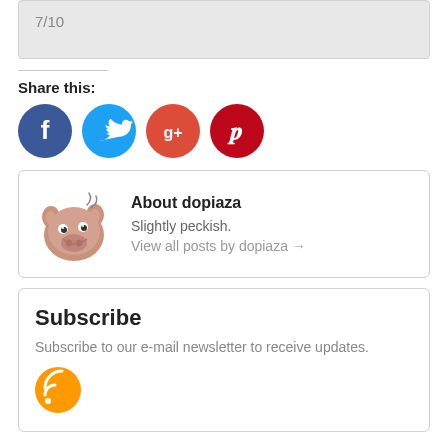7/10
Share this:
[Figure (infographic): Social share buttons: Facebook (blue), Twitter (light blue), Google+ (orange-red), Pinterest (red)]
About dopiaza
Slightly peckish.
View all posts by dopiaza →
Subscribe
Subscribe to our e-mail newsletter to receive updates.
[Figure (logo): Orange RSS feed icon circle]